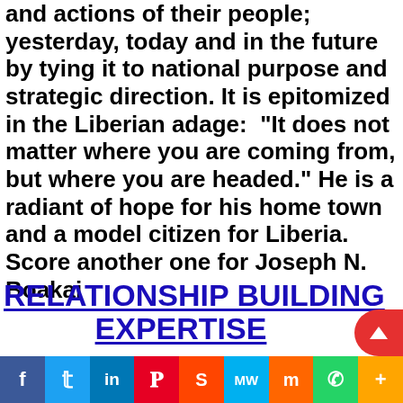and actions of their people; yesterday, today and in the future by tying it to national purpose and strategic direction. It is epitomized in the Liberian adage: “It does not matter where you are coming from, but where you are headed.” He is a radiant of hope for his home town and a model citizen for Liberia. Score another one for Joseph N. Boakai
RELATIONSHIP BUILDING EXPERTISE
[Figure (other): Social media sharing bar with icons for Facebook, Twitter, LinkedIn, Pinterest, Reddit, MeWe, Mix, WhatsApp, and More]